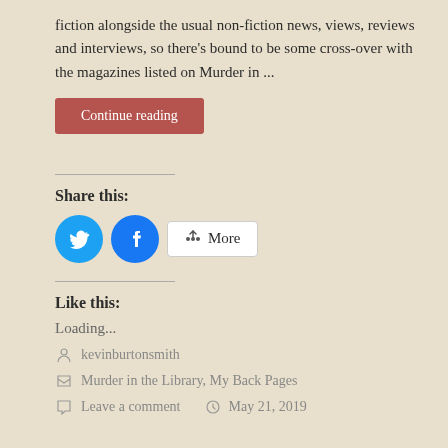fiction alongside the usual non-fiction news, views, reviews and interviews, so there's bound to be some cross-over with the magazines listed on Murder in ...
Continue reading
Share this:
[Figure (infographic): Share buttons: Twitter (blue circle), Facebook (blue circle), and More button with share icon]
Like this:
Loading...
kevinburtonsmith
Murder in the Library, My Back Pages
Leave a comment    May 21, 2019